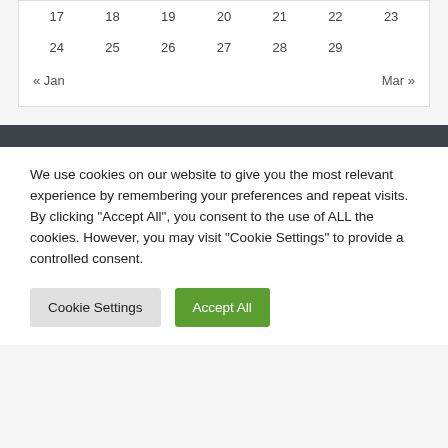| 17 | 18 | 19 | 20 | 21 | 22 | 23 |
| 24 | 25 | 26 | 27 | 28 | 29 |  |
« Jan    Mar »
We use cookies on our website to give you the most relevant experience by remembering your preferences and repeat visits. By clicking "Accept All", you consent to the use of ALL the cookies. However, you may visit "Cookie Settings" to provide a controlled consent.